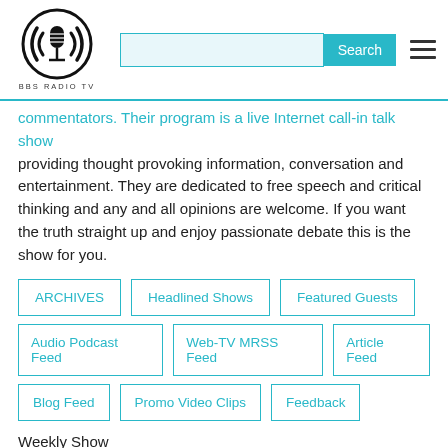[Figure (logo): BBS Radio TV logo - microphone in circle with sound waves]
commentators. Their program is a live Internet call-in talk show providing thought provoking information, conversation and entertainment. They are dedicated to free speech and critical thinking and any and all opinions are welcome. If you want the truth straight up and enjoy passionate debate this is the show for you.
ARCHIVES
Headlined Shows
Featured Guests
Audio Podcast Feed
Web-TV MRSS Feed
Article Feed
Blog Feed
Promo Video Clips
Feedback
Weekly Show
BBS Station 1
Monday